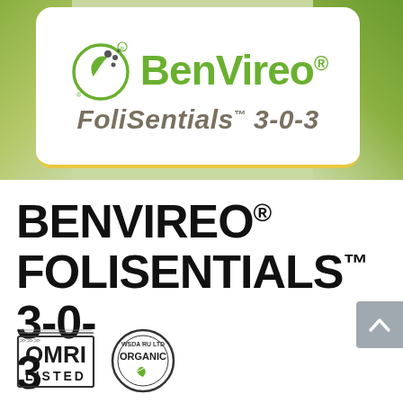[Figure (logo): BenVireo FoliSentials 3-0-3 product logo on white rounded card with yellow bottom border, green leaf circular icon, brand name in green bold text, product name in italic gray-brown text]
BENVIREO® FOLISENTIALS™ 3-0-3
[Figure (logo): OMRI Listed certification seal and WSDA Organic certification seal side by side]